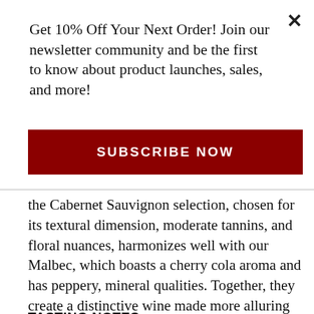Get 10% Off Your Next Order! Join our newsletter community and be the first to know about product launches, sales, and more!
SUBSCRIBE NOW
the Cabernet Sauvignon selection, chosen for its textural dimension, moderate tannins, and floral nuances, harmonizes well with our Malbec, which boasts a cherry cola aroma and has peppery, mineral qualities. Together, they create a distinctive wine made more alluring by the vintage's dramatic fruit flavors.
TASTING NOTES
Abundantly spicy with notes of pepper and toasted wood, the debut vintage of Vendetta boasts juicy fruit, a velvety mouthfeel, and supple tannins. What begins with an intriguing nose of lavender, leather, and graphite emerges with rich layers of cassis, cherries, and wild raspberries. Concentrated yet elegant, it's a wine you can't refuse.